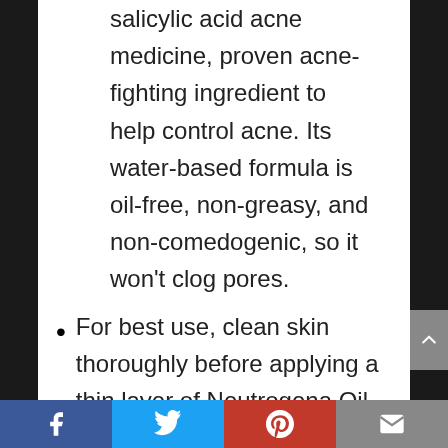salicylic acid acne medicine, proven acne-fighting ingredient to help control acne. Its water-based formula is oil-free, non-greasy, and non-comedogenic, so it won't clog pores.
For best use, clean skin thoroughly before applying a thin layer of Neutrogena Oil-Free Acne Facial Moisturizer one to three times daily to moisturize skin and treat breakouts in one step.
Facebook | Twitter | Pinterest | Email